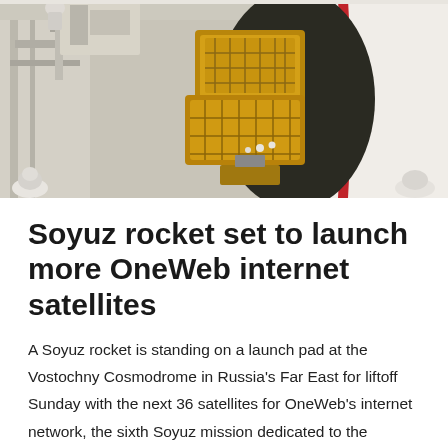[Figure (photo): Photo of OneWeb satellites being loaded into a Soyuz rocket fairing in a large assembly facility. Multiple gold-foil-covered satellites are visible inside the white rocket nose cone. Technicians in white suits are visible in the background on scaffolding.]
Soyuz rocket set to launch more OneWeb internet satellites
A Soyuz rocket is standing on a launch pad at the Vostochny Cosmodrome in Russia's Far East for liftoff Sunday with the next 36 satellites for OneWeb's internet network, the sixth Soyuz mission dedicated to the commercial broadband constellation. The